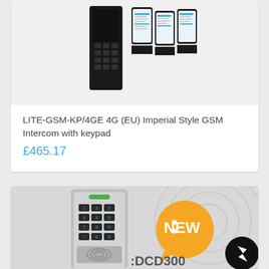[Figure (photo): Product image showing a black keypad intercom device next to multiple smartphone screens displaying an app interface]
LITE-GSM-KP/4GE 4G (EU) Imperial Style GSM Intercom with keypad
£465.17
[Figure (photo): Product image showing a silver numeric keypad access control panel with green LED indicator, beside an orange speech-bubble badge saying ':NEW' and partial text ':DCD300' at bottom. A Facebook Messenger button in black circle at bottom right.]